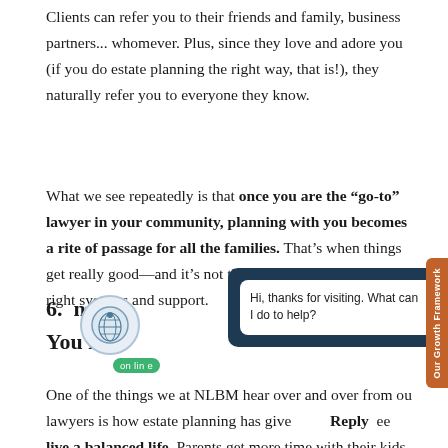Clients can refer you to their friends and family, business partners... whomever. Plus, since they love and adore you (if you do estate planning the right way, that is!), they naturally refer you to everyone they know.
What we see repeatedly is that once you are the “go-to” lawyer in your community, planning with you becomes a rite of passage for all the families. That’s when things get really good—and it’s not that hard to get there, with the right systems and support.
6. [ng...] You [ll] C[...]
One of the things we at NLBM hear over and over from o[ur] lawyers is how estate planning has give[n them freed]ee[dom to] live a balanced life. Parents get more time with their kids, an[d...]